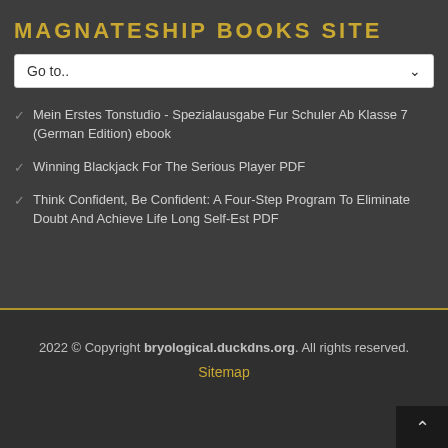MAGNATESHIP BOOKS SITE
[Figure (screenshot): Dropdown menu showing 'Go to..' with a chevron arrow]
Mein Erstes Tonstudio - Spezialausgabe Fur Schuler Ab Klasse 7 (German Edition) ebook
Winning Blackjack For The Serious Player PDF
Think Confident, Be Confident: A Four-Step Program To Eliminate Doubt And Achieve Life Long Self-Est PDF
2022 © Copyright bryological.duckdns.org. All rights reserved.
Sitemap